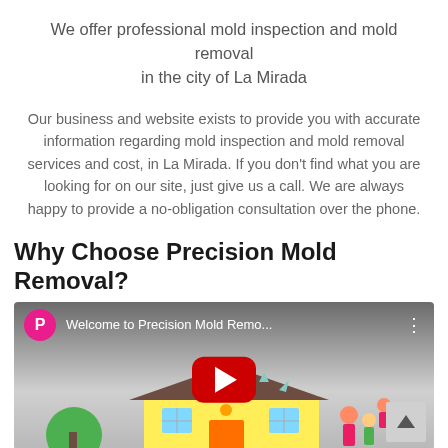We offer professional mold inspection and mold removal in the city of La Mirada
Our business and website exists to provide you with accurate information regarding mold inspection and mold removal services and cost, in La Mirada. If you don't find what you are looking for on our site, just give us a call. We are always happy to provide a no-obligation consultation over the phone.
Why Choose Precision Mold Removal?
[Figure (screenshot): Embedded YouTube video player thumbnail showing 'Welcome to Precision Mold Remo...' with a pink avatar circle with P, video title, three-dot menu, and a red YouTube play button over a cartoon illustration of a house with a family.]